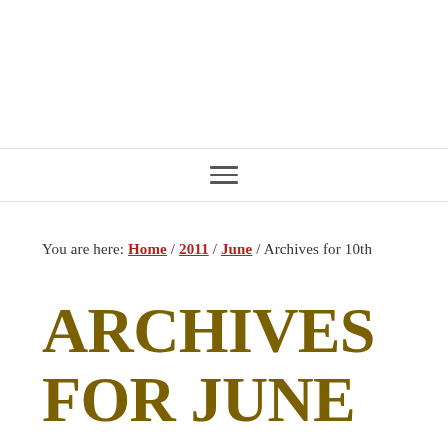≡ (hamburger menu icon)
You are here: Home / 2011 / June / Archives for 10th
ARCHIVES FOR JUNE 10, 2011